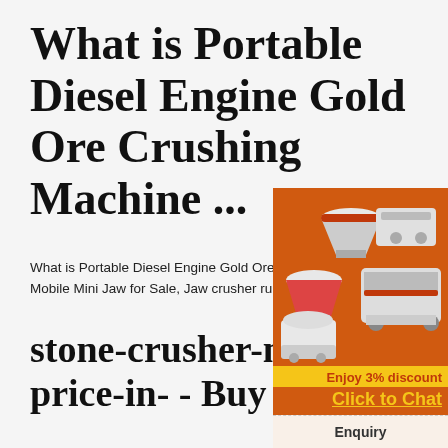What is Portable Diesel Engine Gold Ore Crushing Machine ...
What is Portable Diesel Engine Gold Ore Machine Plant, Factory Price Mobile Mini Jaw for Sale, Jaw crusher running test manufactur
stone-crusher-machine-price-in- - Buy Quality sto ...
[Figure (photo): Orange advertisement sidebar showing industrial crushing/mining machines (jaw crusher, cone crusher, mobile crusher) with orange background, 'Enjoy 3% discount' in yellow bar, 'Click to Chat' in yellow text, 'Enquiry' section, and contact email limingjlmofen@sina.com]